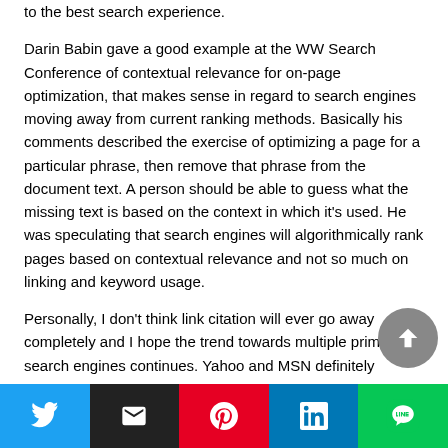to the best search experience.
Darin Babin gave a good example at the WW Search Conference of contextual relevance for on-page optimization, that makes sense in regard to search engines moving away from current ranking methods. Basically his comments described the exercise of optimizing a page for a particular phrase, then remove that phrase from the document text. A person should be able to guess what the missing text is based on the context in which it's used. He was speculating that search engines will algorithmically rank pages based on contextual relevance and not so much on linking and keyword usage.
Personally, I don't think link citation will ever go away completely and I hope the trend towards multiple primary search engines continues. Yahoo and MSN definitely